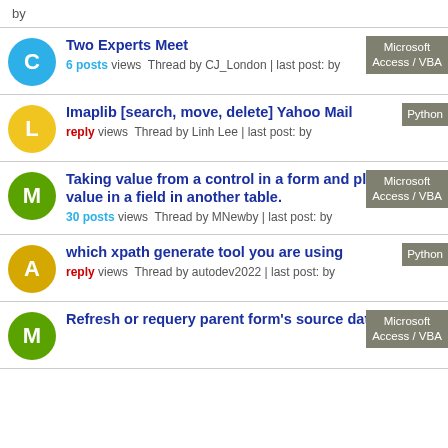by
Two Experts Meet — 6 posts views Thread by CJ_London | last post: by — Tag: Microsoft Access / VBA
Imaplib [search, move, delete] Yahoo Mail — reply views Thread by Linh Lee | last post: by — Tag: Python
Taking value from a control in a form and place that value in a field in another table. — 30 posts views Thread by MNewby | last post: by — Tag: Microsoft Access / VBA
which xpath generate tool you are using — reply views Thread by autodev2022 | last post: by — Tag: Python
Refresh or requery parent form's source data when — Tag: Microsoft Access / VBA